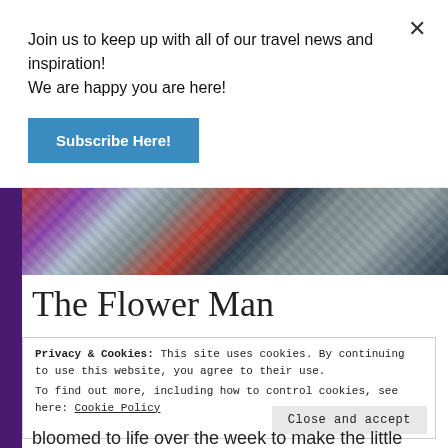[Figure (photo): Photo of colorful textile fabrics and garments hanging or displayed together, including patterned and striped fabrics in red, blue, black and white]
The Flower Man
Privacy & Cookies: This site uses cookies. By continuing to use this website, you agree to their use.
To find out more, including how to control cookies, see here: Cookie Policy
Close and accept
bloomed to life over the week to make the little
Join us to keep up with all of our travel news and inspiration! We are happy you are here!
Subscribe Here!